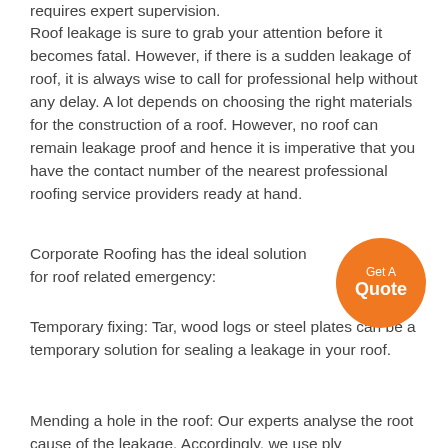requires expert supervision.
Roof leakage is sure to grab your attention before it becomes fatal. However, if there is a sudden leakage of roof, it is always wise to call for professional help without any delay. A lot depends on choosing the right materials for the construction of a roof. However, no roof can remain leakage proof and hence it is imperative that you have the contact number of the nearest professional roofing service providers ready at hand.
[Figure (other): Orange circular button with text 'Get A Quote']
Corporate Roofing has the ideal solution for roof related emergency:
Temporary fixing: Tar, wood logs or steel plates can be a temporary solution for sealing a leakage in your roof.
Mending a hole in the roof: Our experts analyse the root cause of the leakage. Accordingly, we use ply